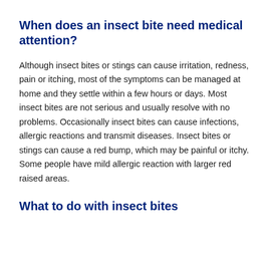When does an insect bite need medical attention?
Although insect bites or stings can cause irritation, redness, pain or itching, most of the symptoms can be managed at home and they settle within a few hours or days. Most insect bites are not serious and usually resolve with no problems. Occasionally insect bites can cause infections, allergic reactions and transmit diseases. Insect bites or stings can cause a red bump, which may be painful or itchy. Some people have mild allergic reaction with larger red raised areas.
What to do with insect bites